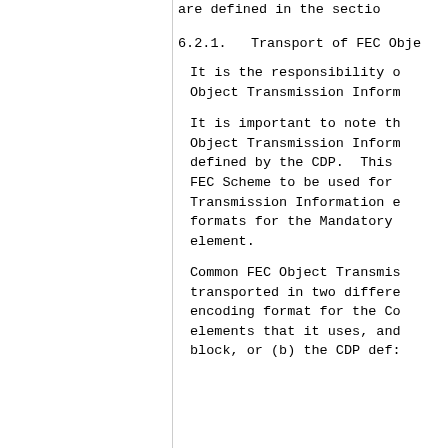are defined in the section
6.2.1.  Transport of FEC Obje
It is the responsibility of Object Transmission Inform
It is important to note th Object Transmission Inform defined by the CDP.  This FEC Scheme to be used for Transmission Information e formats for the Mandatory element.
Common FEC Object Transmis transported in two differe encoding format for the Co elements that it uses, and block, or (b) the CDP def